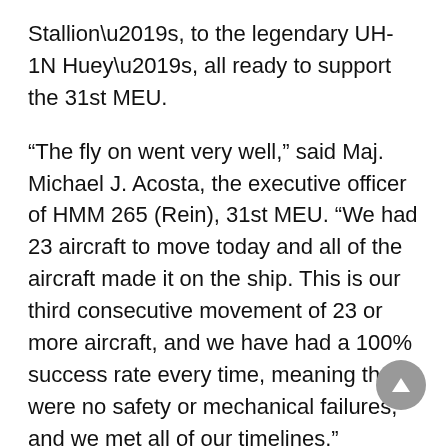Stallion’s, to the legendary UH-1N Huey’s, all ready to support the 31st MEU.
“The fly on went very well,” said Maj. Michael J. Acosta, the executive officer of HMM 265 (Rein), 31st MEU. “We had 23 aircraft to move today and all of the aircraft made it on the ship. This is our third consecutive movement of 23 or more aircraft, and we have had a 100% success rate every time, meaning there were no safety or mechanical failures, and we met all of our timelines.”
During its time with the 31st MEU, the squadron has provided unique capabilities the command can utilize in exercises or